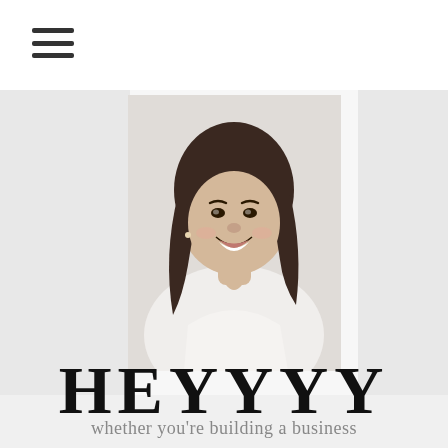[Figure (other): Hamburger menu icon with three horizontal lines in top-left corner of page]
[Figure (photo): Professional headshot of a smiling young Asian woman with long wavy brown hair, wearing a white top, photographed against a light background]
HEYYYY
whether you're building a business